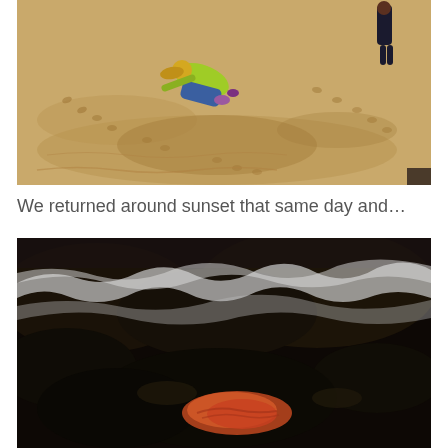[Figure (photo): Aerial view of a sandy beach with a child in a bright yellow-green jacket and blue jeans lying/crawling on the sand. Another person visible in the upper right. Sandy terrain with footprints visible throughout.]
We returned around sunset that same day and…
[Figure (photo): Dark low-light photo taken around sunset at rocky coastline with white ocean waves visible in the upper portion. Lower portion shows dark rocks and what appears to be a reddish-orange marine animal or object on the rocks.]